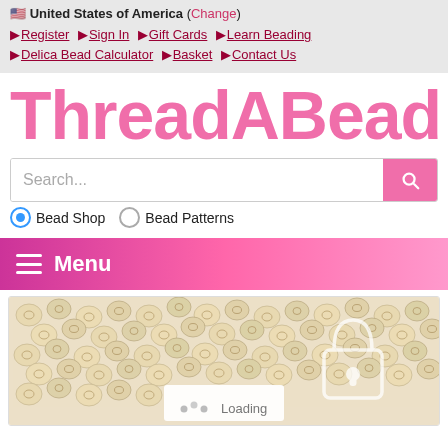🇺🇸 United States of America (Change)
▶ Register ▶ Sign In ▶ Gift Cards ▶ Learn Beading ▶ Delica Bead Calculator ▶ Basket ▶ Contact Us
ThreadABead
Search...
Bead Shop   Bead Patterns
≡ Menu
[Figure (photo): Close-up photo of cream/ivory Delica beads piled together, with a partially visible loading indicator overlay]